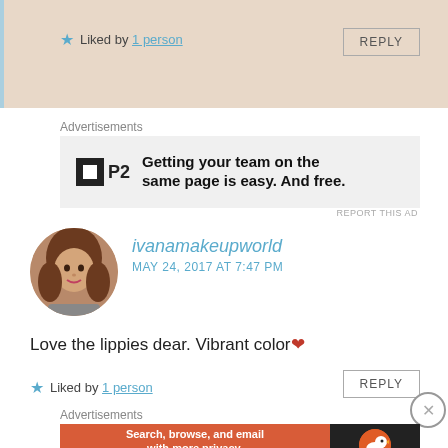Liked by 1 person
REPLY
Advertisements
[Figure (screenshot): P2 advertisement: 'Getting your team on the same page is easy. And free.']
REPORT THIS AD
[Figure (photo): Circular avatar photo of ivanamakeupworld commenter]
ivanamakeupworld
MAY 24, 2017 AT 7:47 PM
Love the lippies dear. Vibrant color ❤
Liked by 1 person
REPLY
Advertisements
[Figure (screenshot): DuckDuckGo advertisement: 'Search, browse, and email with more privacy. All in One Free App']